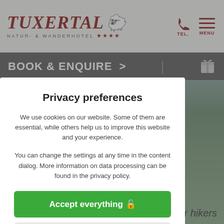[Figure (screenshot): Hotel website header with Tuxertal Natur- & Wanderhotel logo, telephone and menu icons, and book & enquire navigation bar. Background shows mountain landscape photo.]
Privacy preferences
We use cookies on our website. Some of them are essential, while others help us to improve this website and your experience.
You can change the settings at any time in the content dialog. More information on data processing can be found in the privacy policy.
Accept everything 🔓
Only essential cookies
Individual cookie settings
Privacy policy | Legal Notice
for hikers